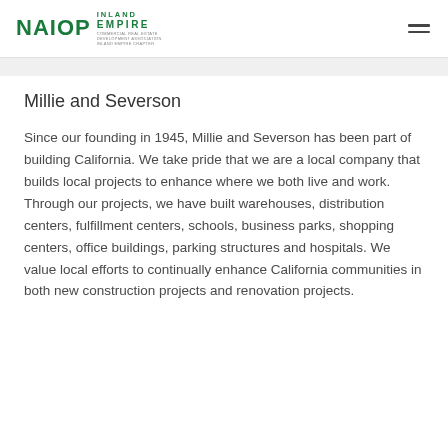NAIOP INLAND EMPIRE
Millie and Severson
Since our founding in 1945, Millie and Severson has been part of building California. We take pride that we are a local company that builds local projects to enhance where we both live and work. Through our projects, we have built warehouses, distribution centers, fulfillment centers, schools, business parks, shopping centers, office buildings, parking structures and hospitals. We value local efforts to continually enhance California communities in both new construction projects and renovation projects.